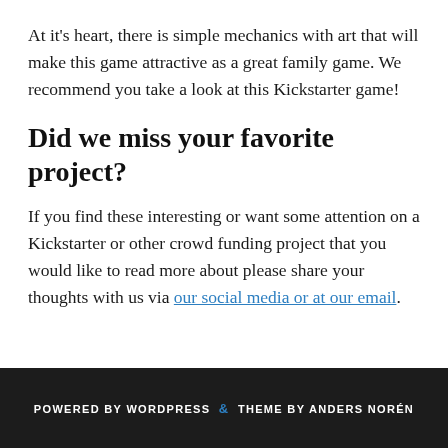At it's heart, there is simple mechanics with art that will make this game attractive as a great family game. We recommend you take a look at this Kickstarter game!
Did we miss your favorite project?
If you find these interesting or want some attention on a Kickstarter or other crowd funding project that you would like to read more about please share your thoughts with us via our social media or at our email.
POWERED BY WORDPRESS & THEME BY ANDERS NORÉN